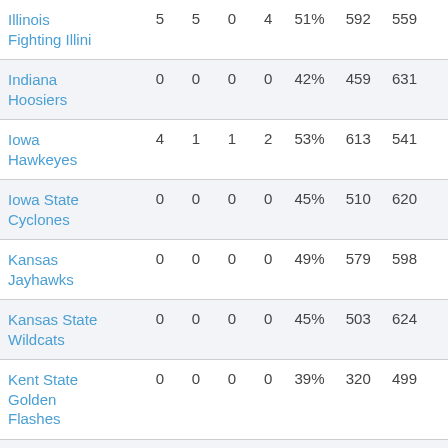| Team | W | L | T | Home | Win% | PF | PA | ... |
| --- | --- | --- | --- | --- | --- | --- | --- | --- |
| Illinois Fighting Illini | 5 | 5 | 0 | 4 | 51% | 592 | 559 |  |
| Indiana Hoosiers | 0 | 0 | 0 | 0 | 42% | 459 | 631 |  |
| Iowa Hawkeyes | 4 | 1 | 1 | 2 | 53% | 613 | 541 |  |
| Iowa State Cyclones | 0 | 0 | 0 | 0 | 45% | 510 | 620 |  |
| Kansas Jayhawks | 0 | 0 | 0 | 0 | 49% | 579 | 598 |  |
| Kansas State Wildcats | 0 | 0 | 0 | 0 | 45% | 503 | 624 |  |
| Kent State Golden Flashes | 0 | 0 | 0 | 0 | 39% | 320 | 499 |  |
| Kentucky Wildcats | 1 | 1 | 0 | 1 | 50% | 587 | 599 |  |